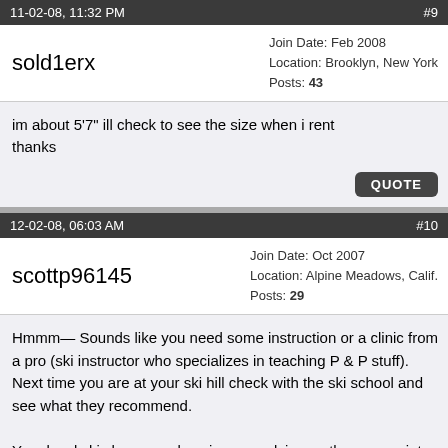11-02-08, 11:32 PM   #9
sold1erx
Join Date: Feb 2008
Location: Brooklyn, New York
Posts: 43
im about 5'7" ill check to see the size when i rent
thanks
12-02-08, 06:03 AM   #10
scottp96145
Join Date: Oct 2007
Location: Alpine Meadows, Calif.
Posts: 29
Hmmm— Sounds like you need some instruction or a clinic from a pro (ski instructor who specializes in teaching P & P stuff). Next time you are at your ski hill check with the ski school and see what they recommend.

Your local ski shop can also give you advice on the appropriate P & P ski to rent and proper length ski.

As a...